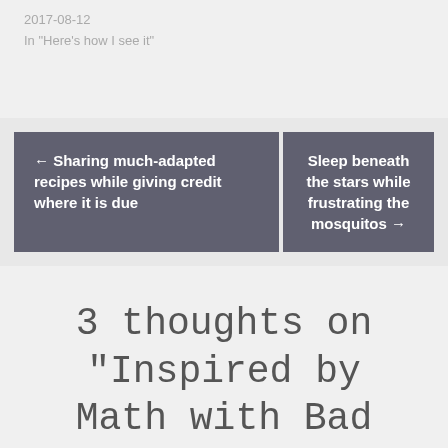2017-08-12
In "Here's how I see it"
← Sharing much-adapted recipes while giving credit where it is due
Sleep beneath the stars while frustrating the mosquitos →
3 thoughts on “Inspired by Math with Bad Drawings: “I’m not going to tell you